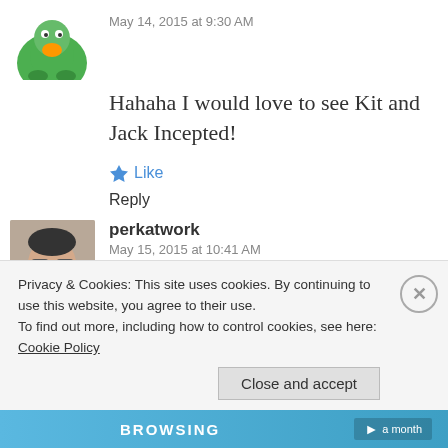May 14, 2015 at 9:30 AM
Hahaha I would love to see Kit and Jack Incepted!
Like
Reply
[Figure (photo): Avatar photo of perkatwork user - man with glasses smiling]
perkatwork
May 15, 2015 at 10:41 AM
I've heard of breaking the fourth wall but never the first! Nice!
Privacy & Cookies: This site uses cookies. By continuing to use this website, you agree to their use. To find out more, including how to control cookies, see here: Cookie Policy
Close and accept